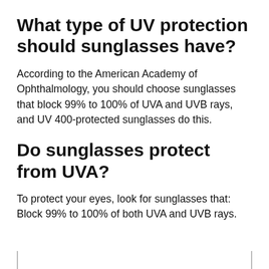What type of UV protection should sunglasses have?
According to the American Academy of Ophthalmology, you should choose sunglasses that block 99% to 100% of UVA and UVB rays, and UV 400-protected sunglasses do this.
Do sunglasses protect from UVA?
To protect your eyes, look for sunglasses that: Block 99% to 100% of both UVA and UVB rays.